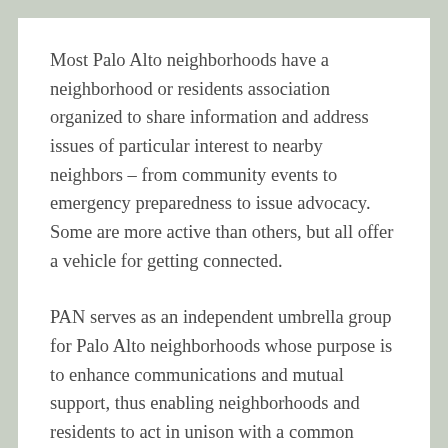Most Palo Alto neighborhoods have a neighborhood or residents association organized to share information and address issues of particular interest to nearby neighbors – from community events to emergency preparedness to issue advocacy. Some are more active than others, but all offer a vehicle for getting connected.
PAN serves as an independent umbrella group for Palo Alto neighborhoods whose purpose is to enhance communications and mutual support, thus enabling neighborhoods and residents to act in unison with a common voice, or individually, on local concerns. PAN convenes regular meetings of neighborhood association leaders, holds public